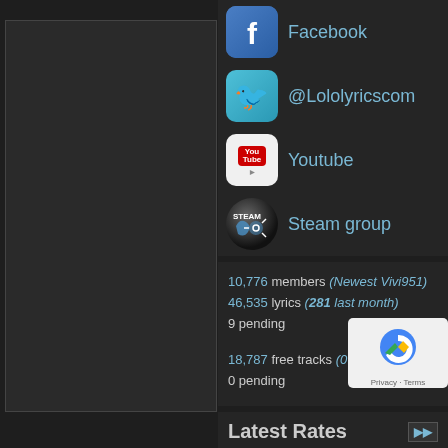[Figure (screenshot): Left panel: dark grey empty box/sidebar area]
Facebook
@Lololyricscom
Youtube
Steam group
10,776 members (Newest Vivi951)
46,535 lyrics (281 last month)
9 pending

18,787 free tracks (0 last month)
0 pending
Latest Rates
+1 X-Teknoko.. - History
+1 Bones - CheddarBob
+1 Psyko Pun.. - The Al
+3 Ruffneck .. - Justice